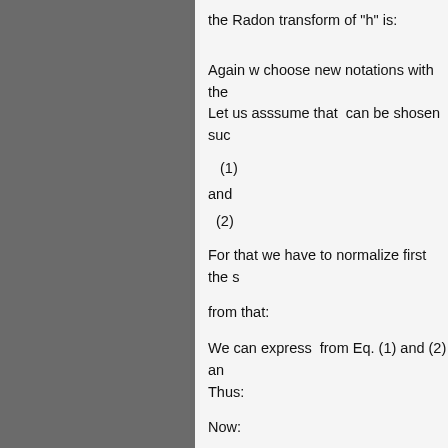the Radon transform of "h" is:
Again w choose new notations with the Let us asssume that  can be shosen suc
and
For that we have to normalize first the s
from that:
We can express  from Eq. (1) and (2) an Thus:
Now:
here then and
Conclusio